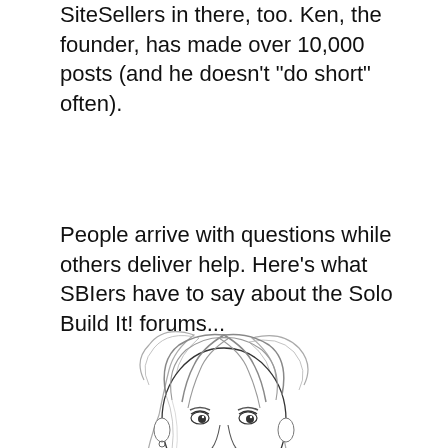SiteSellers in there, too. Ken, the founder, has made over 10,000 posts (and he doesn't "do short" often).
People arrive with questions while others deliver help. Here's what SBIers have to say about the Solo Build It! forums...
[Figure (illustration): Pencil sketch / line drawing portrait of a woman with shoulder-length hair, looking slightly downward.]